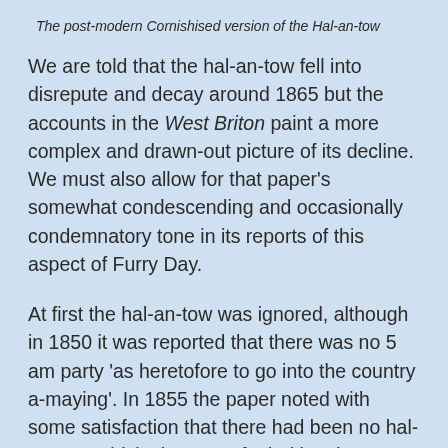The post-modern Cornishised version of the Hal-an-tow
We are told that the hal-an-tow fell into disrepute and decay around 1865 but the accounts in the West Briton paint a more complex and drawn-out picture of its decline. We must also allow for that paper's somewhat condescending and occasionally condemnatory tone in its reports of this aspect of Furry Day.
At first the hal-an-tow was ignored, although in 1850 it was reported that there was no 5 am party 'as heretofore to go into the country a-maying'. In 1855 the paper noted with some satisfaction that there had been no hal-an-tow, which 'time out of mind has been continued, but from the manner in